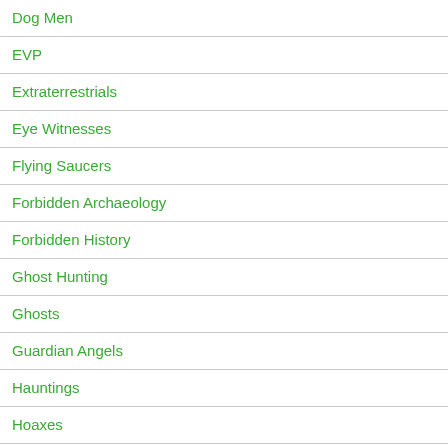Dog Men
EVP
Extraterrestrials
Eye Witnesses
Flying Saucers
Forbidden Archaeology
Forbidden History
Ghost Hunting
Ghosts
Guardian Angels
Hauntings
Hoaxes
Hounds